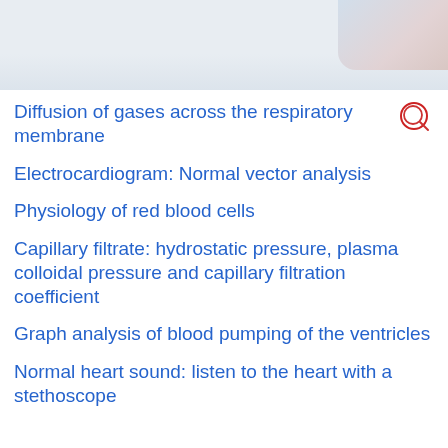[Figure (photo): Header image with medical/clinical photo accent on the right side, light blue-grey background]
Diffusion of gases across the respiratory membrane
Electrocardiogram: Normal vector analysis
Physiology of red blood cells
Capillary filtrate: hydrostatic pressure, plasma colloidal pressure and capillary filtration coefficient
Graph analysis of blood pumping of the ventricles
Normal heart sound: listen to the heart with a stethoscope